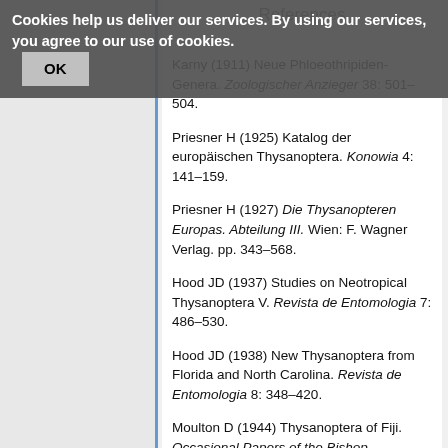References
Cookies help us deliver our services. By using our services, you agree to our use of cookies. OK
Karny (1911) Neue Phloeothripiden-Genera. Zoologischer Anzieger 38: 501–504.
Priesner H (1925) Katalog der europäischen Thysanoptera. Konowia 4: 141–159.
Priesner H (1927) Die Thysanopteren Europas. Abteilung III. Wien: F. Wagner Verlag. pp. 343–568.
Hood JD (1937) Studies on Neotropical Thysanoptera V. Revista de Entomologia 7: 486–530.
Hood JD (1938) New Thysanoptera from Florida and North Carolina. Revista de Entomologia 8: 348–420.
Moulton D (1944) Thysanoptera of Fiji. Occasional Papers of the Bishop